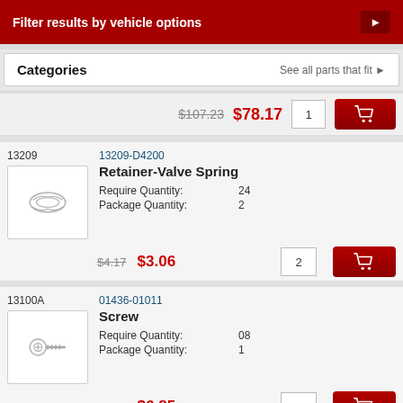Filter results by vehicle options
Categories  See all parts that fit ▶
| Old Price | New Price | Qty | Action |
| --- | --- | --- | --- |
| $107.23 | $78.17 | 1 | Add to cart |
13209 | 13209-D4200 | Retainer-Valve Spring | Require Quantity: 24 | Package Quantity: 2 | $4.17 → $3.06 | Qty: 2
13100A | 01436-01011 | Screw | Require Quantity: 08 | Package Quantity: 1 | $9.32 → $6.85 | Qty: 1